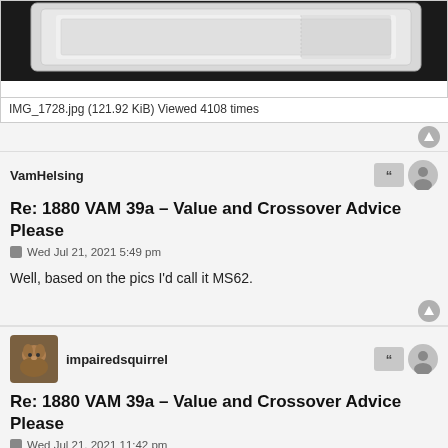[Figure (photo): Top portion of a photo showing a coin in a plastic holder/slab on a black background]
IMG_1728.jpg (121.92 KiB) Viewed 4108 times
VamHelsing
Re: 1880 VAM 39a – Value and Crossover Advice Please
Wed Jul 21, 2021 5:49 pm
Well, based on the pics I'd call it MS62.
[Figure (photo): Avatar of impairedsquirrel - a squirrel photo]
impairedsquirrel
Re: 1880 VAM 39a – Value and Crossover Advice Please
Wed Jul 21, 2021 11:42 pm